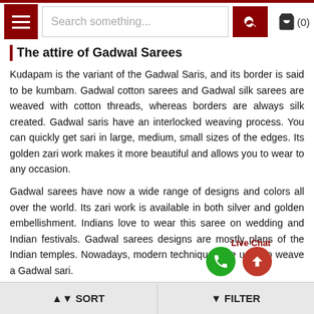Search something...
The attire of Gadwal Sarees
Kudapam is the variant of the Gadwal Saris, and its border is said to be kumbam. Gadwal cotton sarees and Gadwal silk sarees are weaved with cotton threads, whereas borders are always silk created. Gadwal saris have an interlocked weaving process. You can quickly get sari in large, medium, small sizes of the edges. Its golden zari work makes it more beautiful and allows you to wear to any occasion.
Gadwal sarees have now a wide range of designs and colors all over the world. Its zari work is available in both silver and golden embellishment. Indians love to wear this saree on wedding and Indian festivals. Gadwal sarees designs are mostly plans of the Indian temples. Nowadays, modern techniques are used to weave a Gadwal sari.
SORT   FILTER